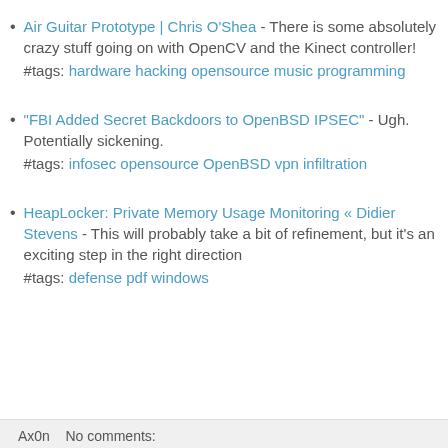Air Guitar Prototype | Chris O'Shea - There is some absolutely crazy stuff going on with OpenCV and the Kinect controller!
#tags: hardware hacking opensource music programming
"FBI Added Secret Backdoors to OpenBSD IPSEC" - Ugh. Potentially sickening.
#tags: infosec opensource OpenBSD vpn infiltration
HeapLocker: Private Memory Usage Monitoring « Didier Stevens - This will probably take a bit of refinement, but it's an exciting step in the right direction
#tags: defense pdf windows
Ax0n   No comments: